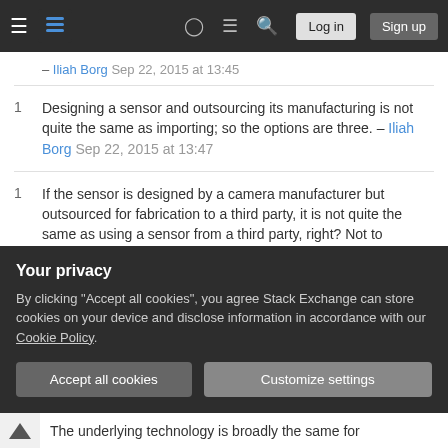Navigation bar with hamburger menu, logo, help, chat, search icons, Log in and Sign up buttons
– Iliah Borg Sep 22, 2015 at 13:45
1  Designing a sensor and outsourcing its manufacturing is not quite the same as importing; so the options are three. – Iliah Borg Sep 22, 2015 at 13:47
1  If the sensor is designed by a camera manufacturer but outsourced for fabrication to a third party, it is not quite the same as using a sensor from a third party, right? Not to mention that the sensor is often masked with a CFA at yet another facility, belonging to another 3rd party ;) - while the quality of CFA plays an extremely important role in the overall quality of the camera output. – Iliah Borg Sep 22, 2015 at 15:33
Your privacy
By clicking "Accept all cookies", you agree Stack Exchange can store cookies on your device and disclose information in accordance with our Cookie Policy.
Accept all cookies   Customize settings
The underlying technology is broadly the same for